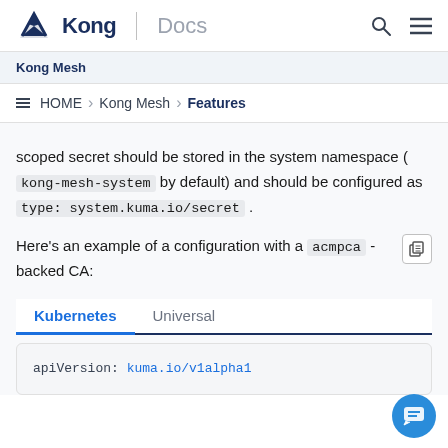Kong | Docs
Kong Mesh
HOME › Kong Mesh › Features
scoped secret should be stored in the system namespace ( kong-mesh-system by default) and should be configured as type: system.kuma.io/secret .
Here's an example of a configuration with a acmpca - backed CA:
Kubernetes
Universal
apiVersion: kuma.io/v1alpha1